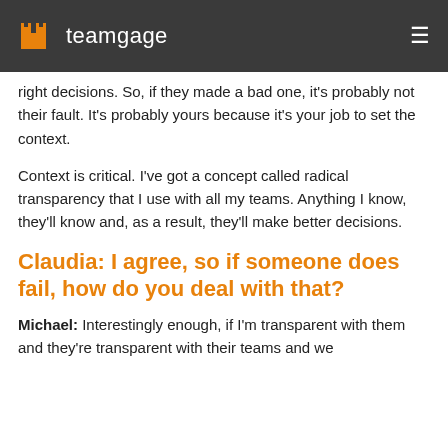teamgage
right decisions. So, if they made a bad one, it's probably not their fault. It's probably yours because it's your job to set the context.
Context is critical. I've got a concept called radical transparency that I use with all my teams. Anything I know, they'll know and, as a result, they'll make better decisions.
Claudia: I agree, so if someone does fail, how do you deal with that?
Michael: Interestingly enough, if I'm transparent with them and they're transparent with their teams and we